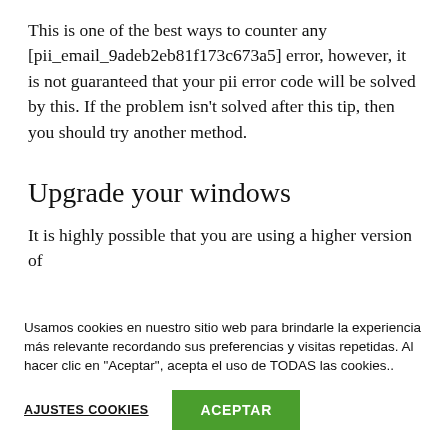This is one of the best ways to counter any [pii_email_9adeb2eb81f173c673a5] error, however, it is not guaranteed that your pii error code will be solved by this. If the problem isn't solved after this tip, then you should try another method.
Upgrade your windows
It is highly possible that you are using a higher version of
Usamos cookies en nuestro sitio web para brindarle la experiencia más relevante recordando sus preferencias y visitas repetidas. Al hacer clic en "Aceptar", acepta el uso de TODAS las cookies..
AJUSTES COOKIES   ACEPTAR